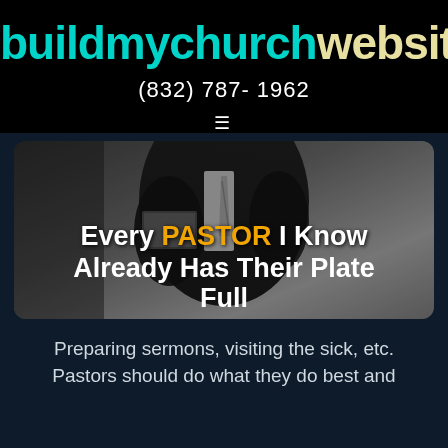buildmychurchwebsite
(832) 787- 1962
[Figure (photo): A person in a dark suit holding a laptop and tie, photographed from the chest/neck down against a grey concrete wall background, with overlaid text: 'Every PASTOR I Know Already Has Their Plate Full']
Preparing sermons, visiting the sick, etc. Pastors should do what they do best and